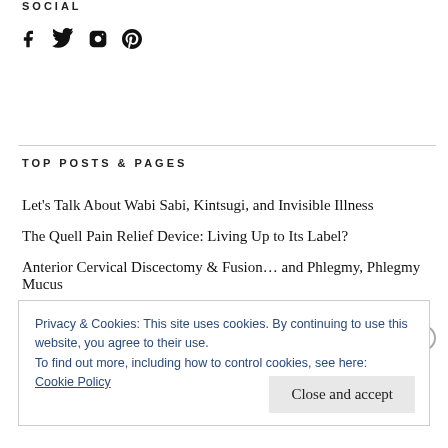SOCIAL
[Figure (illustration): Social media icons: Facebook, Twitter, Instagram, Pinterest]
TOP POSTS & PAGES
Let's Talk About Wabi Sabi, Kintsugi, and Invisible Illness
The Quell Pain Relief Device: Living Up to Its Label?
Anterior Cervical Discectomy & Fusion… and Phlegmy, Phlegmy Mucus
Privacy & Cookies: This site uses cookies. By continuing to use this website, you agree to their use.
To find out more, including how to control cookies, see here:
Cookie Policy
Close and accept